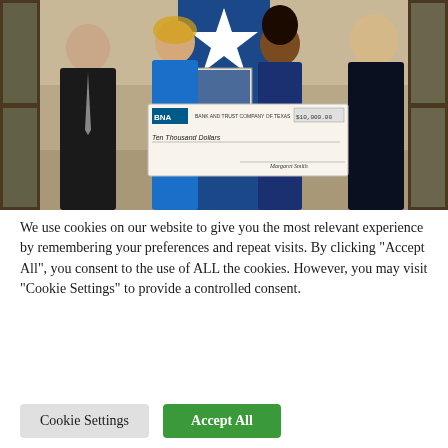[Figure (photo): Four people standing together holding a large ceremonial check. Two men in dark suits flank two women in the center. A blue banner with a white star is visible in the background. The check reads 'Ten Thousand Dollars' and appears to be from BNA.]
We use cookies on our website to give you the most relevant experience by remembering your preferences and repeat visits. By clicking "Accept All", you consent to the use of ALL the cookies. However, you may visit "Cookie Settings" to provide a controlled consent.